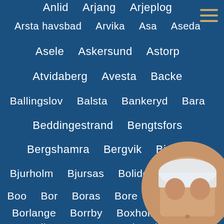Anlid   Arjang   Arjeplog
Arsta havsbad   Arvika   Asa   Aseda
Asele   Askersund   Astorp
Atvidaberg   Avesta   Backe
Ballingslov   Balsta   Bankeryd   Bara
Beddingestrand   Bengtsfors
Bergshamra   Bergvik   Bjasta
Bjurholm   Bjursas   Boliden   Bollnas
Boo   Bor   Boras   Bore
Borlange   Borrby   Boxholm
Brantevik   Brosarp   Bruksvallarna
[Figure (photo): Circular cropped photo of a person's torso, partially clothed, in the lower right corner of the page.]